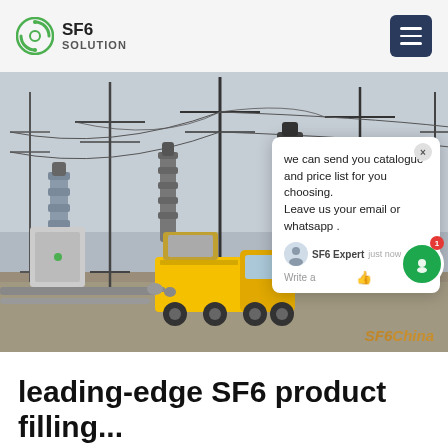SF6 SOLUTION
[Figure (photo): Electrical substation with high-voltage equipment, transmission towers, and a yellow service truck. SF6China watermark visible. Chat popup overlay showing message: 'we can send you catalogue and price list for you choosing. Leave us your email or whatsapp .' from SF6 Expert, just now.]
leading-edge SF6 product filling...